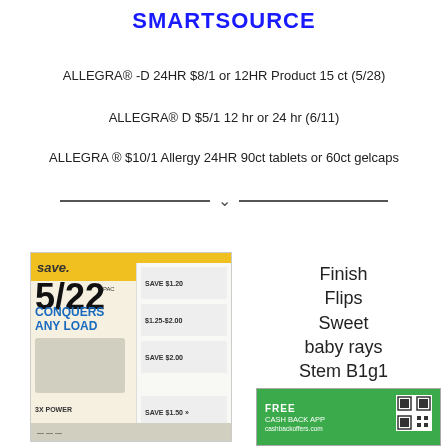SMARTSOURCE
ALLEGRA® -D 24HR $8/1 or 12HR Product 15 ct (5/28)
ALLEGRA® D $5/1 12 hr or 24 hr (6/11)
ALLEGRA ® $10/1 Allergy 24HR 90ct tablets or 60ct gelcaps
[Figure (photo): SmartSource coupon insert booklet dated 5/22 with banner reading 'save.' and text 'CONQUERS ANY LOAD' with coupon savings details]
Finish
Flips
Sweet
baby rays
Stem B1g1
[Figure (photo): Green cashback/rebate offer card with FREE CASHBACK text and QR code]